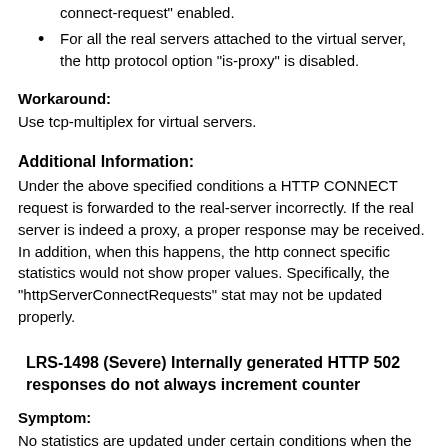connect-request" enabled.
For all the real servers attached to the virtual server, the http protocol option "is-proxy" is disabled.
Workaround:
Use tcp-multiplex for virtual servers.
Additional Information:
Under the above specified conditions a HTTP CONNECT request is forwarded to the real-server incorrectly. If the real server is indeed a proxy, a proper response may be received. In addition, when this happens, the http connect specific statistics would not show proper values. Specifically, the "httpServerConnectRequests" stat may not be updated properly.
LRS-1498 (Severe) Internally generated HTTP 502 responses do not always increment counter
Symptom:
No statistics are updated under certain conditions when the load balancer returns a 502 Bad Gateway message.
Condition: